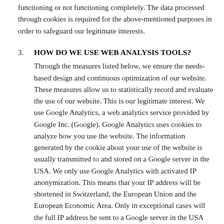functioning or not functioning completely. The data processed through cookies is required for the above-mentioned purposes in order to safeguard our legitimate interests.
3. HOW DO WE USE WEB ANALYSIS TOOLS?
Through the measures listed below, we ensure the needs-based design and continuous optimization of our website. These measures allow us to statistically record and evaluate the use of our website. This is our legitimate interest. We use Google Analytics, a web analytics service provided by Google Inc. (Google). Google Analytics uses cookies to analyze how you use the website. The information generated by the cookie about your use of the website is usually transmitted to and stored on a Google server in the USA. We only use Google Analytics with activated IP anonymization. This means that your IP address will be shortened in Switzerland, the European Union and the European Economic Area. Only in exceptional cases will the full IP address be sent to a Google server in the USA and shortened there. Google will use this information on our behalf to evaluate your use of the website in order to provide us with reports on the